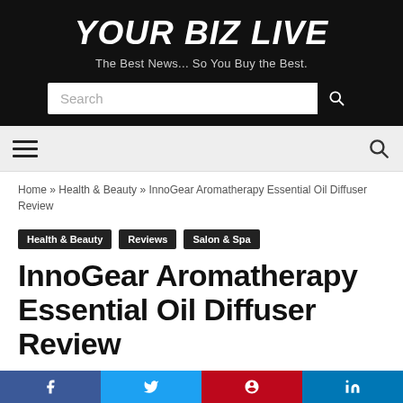YOUR BIZ LIVE
The Best News... So You Buy the Best.
Search
Home » Health & Beauty » InnoGear Aromatherapy Essential Oil Diffuser Review
Health & Beauty
Reviews
Salon & Spa
InnoGear Aromatherapy Essential Oil Diffuser Review